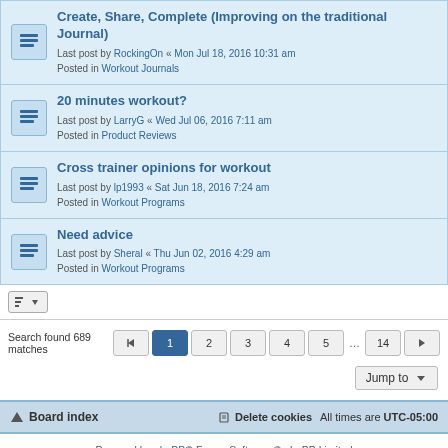Create, Share, Complete (Improving on the traditional Journal) — Last post by RockingOn « Mon Jul 18, 2016 10:31 am — Posted in Workout Journals
20 minutes workout? — Last post by LarryG « Wed Jul 06, 2016 7:11 am — Posted in Product Reviews
Cross trainer opinions for workout — Last post by lp1993 « Sat Jun 18, 2016 7:24 am — Posted in Workout Programs
Need advice — Last post by Sheral « Thu Jun 02, 2016 4:29 am — Posted in Workout Programs
Search found 689 matches
Board index | Delete cookies | All times are UTC-05:00
Powered by phpBB® Forum Software © phpBB Limited
Privacy | Terms